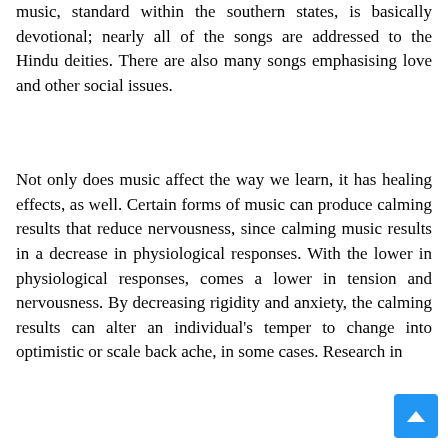music, standard within the southern states, is basically devotional; nearly all of the songs are addressed to the Hindu deities. There are also many songs emphasising love and other social issues.
Not only does music affect the way we learn, it has healing effects, as well. Certain forms of music can produce calming results that reduce nervousness, since calming music results in a decrease in physiological responses. With the lower in physiological responses, comes a lower in tension and nervousness. By decreasing rigidity and anxiety, the calming results can alter an individual's temper to change into optimistic or scale back ache, in some cases. Research in